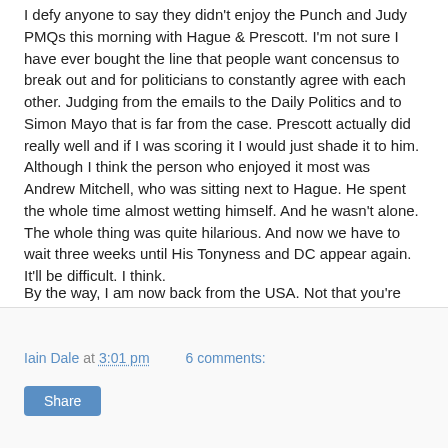I defy anyone to say they didn't enjoy the Punch and Judy PMQs this morning with Hague & Prescott. I'm not sure I have ever bought the line that people want concensus to break out and for politicians to constantly agree with each other. Judging from the emails to the Daily Politics and to Simon Mayo that is far from the case. Prescott actually did really well and if I was scoring it I would just shade it to him. Although I think the person who enjoyed it most was Andrew Mitchell, who was sitting next to Hague. He spent the whole time almost wetting himself. And he wasn't alone. The whole thing was quite hilarious. And now we have to wait three weeks until His Tonyness and DC appear again. It'll be difficult. I think.
By the way, I am now back from the USA. Not that you're interested!
Iain Dale at 3:01 pm   6 comments:   Share